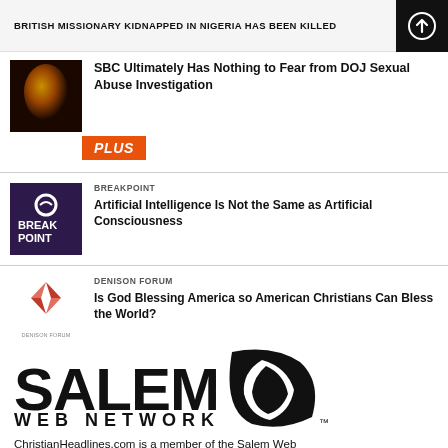BRITISH MISSIONARY KIDNAPPED IN NIGERIA HAS BEEN KILLED
SBC Ultimately Has Nothing to Fear from DOJ Sexual Abuse Investigation
BREAKPOINT
Artificial Intelligence Is Not the Same as Artificial Consciousness
DENISON FORUM
Is God Blessing America so American Christians Can Bless the World?
[Figure (logo): Salem Web Network logo]
ChristianHeadlines.com is a member of the Salem Web